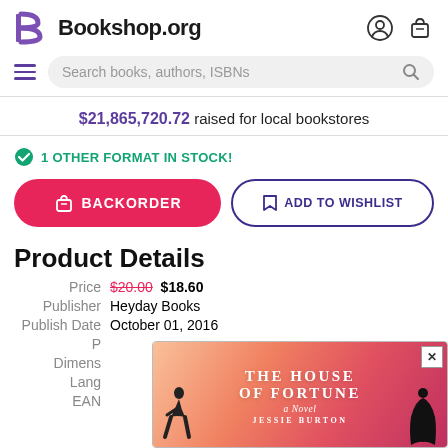Bookshop.org
Search books, authors, ISBNs
$21,865,720.72 raised for local bookstores
1 OTHER FORMAT IN STOCK!
BACKORDER
ADD TO WISHLIST
Product Details
|  |  |
| --- | --- |
| Price | $20.00  $18.60 |
| Publisher | Heyday Books |
| Publish Date | October 01, 2016 |
[Figure (illustration): Book cover popup for 'The House of Fortune: A Novel' by Jessie Burton, with pink-red gradient background and silhouette figures. Has a close (x) button in top right corner.]